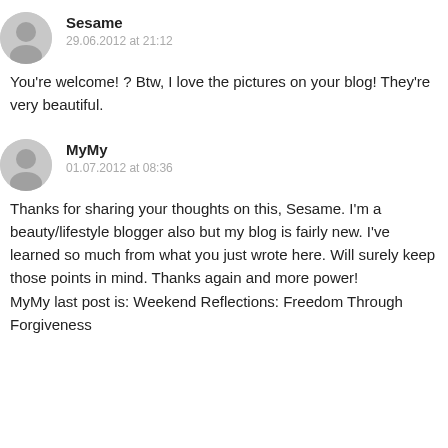Sesame
29.06.2012 at 21:12
You're welcome! ? Btw, I love the pictures on your blog! They're very beautiful.
MyMy
01.07.2012 at 08:36
Thanks for sharing your thoughts on this, Sesame. I'm a beauty/lifestyle blogger also but my blog is fairly new. I've learned so much from what you just wrote here. Will surely keep those points in mind. Thanks again and more power! MyMy last post is: Weekend Reflections: Freedom Through Forgiveness